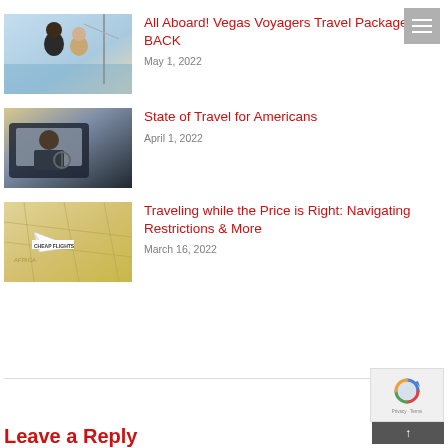[Figure (photo): Couple on a boat, man and woman smiling, nautical setting]
All Aboard! Vegas Voyagers Travel Packages are BACK
May 1, 2022
[Figure (photo): Person sitting in car, driving, road trip scene]
State of Travel for Americans
April 1, 2022
[Figure (photo): Paper airplane on a map with 'CHEAP FLIGHTS' text, travel concept]
Traveling while the Price is Right: Navigating Restrictions & More
March 16, 2022
Leave a Reply